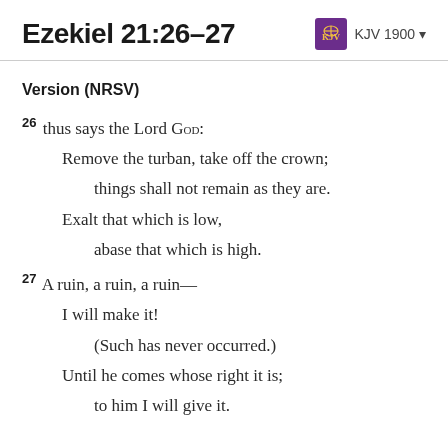Ezekiel 21:26–27
Version (NRSV)
26 thus says the Lord God:
Remove the turban, take off the crown;
things shall not remain as they are.
Exalt that which is low,
abase that which is high.
27 A ruin, a ruin, a ruin—
I will make it!
(Such has never occurred.)
Until he comes whose right it is;
to him I will give it.